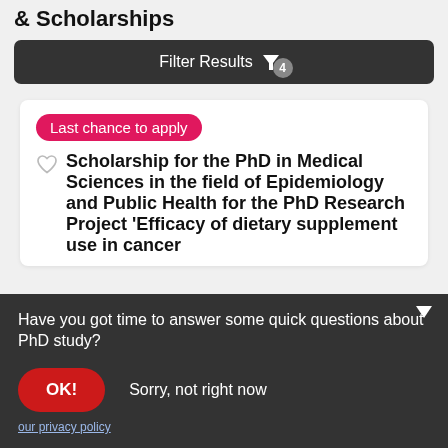& Scholarships
Filter Results 4
Last chance to apply
Scholarship for the PhD in Medical Sciences in the field of Epidemiology and Public Health for the PhD Research Project ‘Efficacy of dietary supplement use in cancer
Have you got time to answer some quick questions about PhD study?
OK!
Sorry, not right now
our privacy policy